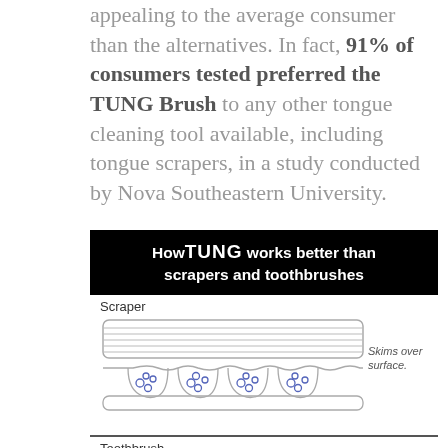appealing to the average consumer than the alternatives. In fact, 91% of consumers tested preferred the TUNG Brush to any other tongue cleaning tool available, including tongue scrapers, in a study conducted by Nova Southeastern University.
[Figure (infographic): Infographic showing how TUNG brush works better than scrapers and toothbrushes. Top section shows a Scraper that skims over surface. Bottom section shows a Toothbrush where bristles can't penetrate crevices. Both sections show cross-section diagrams of tongue surface crevices with bacterial colonies.]